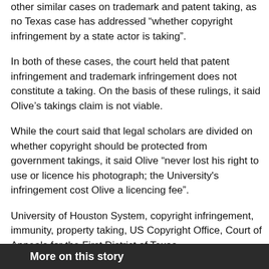other similar cases on trademark and patent taking, as no Texas case has addressed “whether copyright infringement by a state actor is taking”.
In both of these cases, the court held that patent infringement and trademark infringement does not constitute a taking. On the basis of these rulings, it said Olive’s takings claim is not viable.
While the court said that legal scholars are divided on whether copyright should be protected from government takings, it said Olive “never lost his right to use or licence his photograph; the University's infringement cost Olive a licencing fee”.
University of Houston System, copyright infringement, immunity, property taking, US Copyright Office, Court of Appeals for the First District of Texas
More on this story